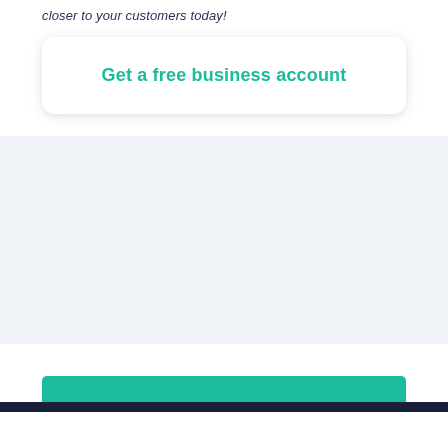closer to your customers today!
Get a free business account
[Figure (other): Light blue/grey background section, blank content area]